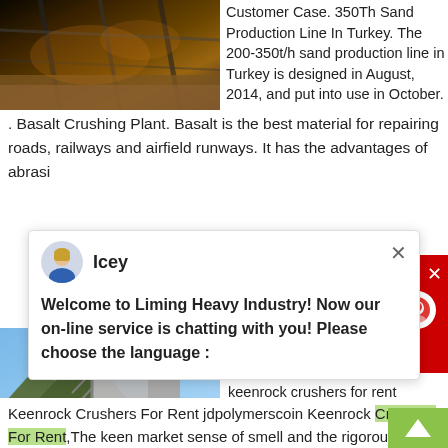[Figure (photo): Industrial mining/construction facility interior with orange/brown tones, machinery and structural steel beams visible]
Customer Case. 350Th Sand Production Line In Turkey. The 200-350t/h sand production line in Turkey is designed in August, 2014, and put into use in October. . Basalt Crushing Plant. Basalt is the best material for repairing roads, railways and airfield runways. It has the advantages of abrasi
[Figure (screenshot): Chat widget overlay from Liming Heavy Industry with avatar 'Icey' and message: Welcome to Liming Heavy Industry! Now our on-line service is chatting with you! Please choose the language :]
Keenrock Crushers For Rent
Keenrock Crushers For Rent . keenrock crushers for rent alsdseu. keenrock crushers for rent
Keenrock Crushers For Rent jdpolymerscoin Keenrock Crushers For Rent,The keen market sense of smell and the rigorous work